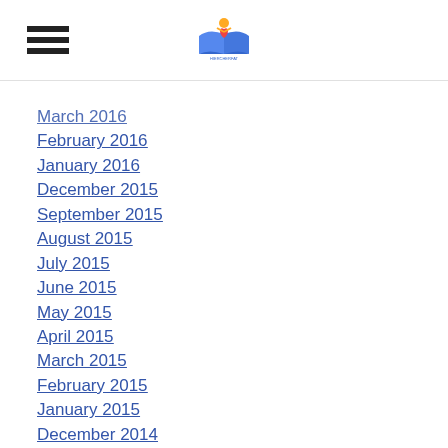Hamburger menu and logo header
March 2016
February 2016
January 2016
December 2015
September 2015
August 2015
July 2015
June 2015
May 2015
April 2015
March 2015
February 2015
January 2015
December 2014
November 2014
October 2014
September 2014
August 2014
July 2014